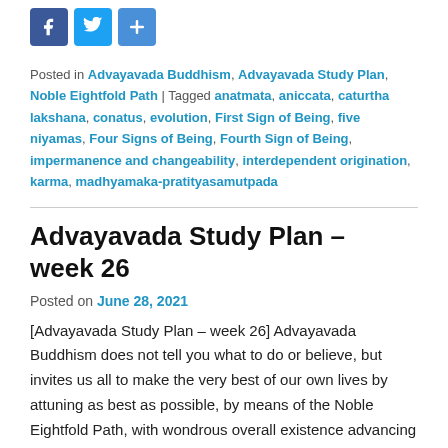[Figure (other): Social share icons: Facebook, Twitter, and a generic share/plus button]
Posted in Advayavada Buddhism, Advayavada Study Plan, Noble Eightfold Path | Tagged anatmata, aniccata, caturtha lakshana, conatus, evolution, First Sign of Being, five niyamas, Four Signs of Being, Fourth Sign of Being, impermanence and changeability, interdependent origination, karma, madhyamaka-pratityasamutpada
Advayavada Study Plan – week 26
Posted on June 28, 2021
[Advayavada Study Plan – week 26] Advayavada Buddhism does not tell you what to do or believe, but invites us all to make the very best of our own lives by attuning as best as possible, by means of the Noble Eightfold Path, with wondrous overall existence advancing over time now in its manifest direction; we seek to